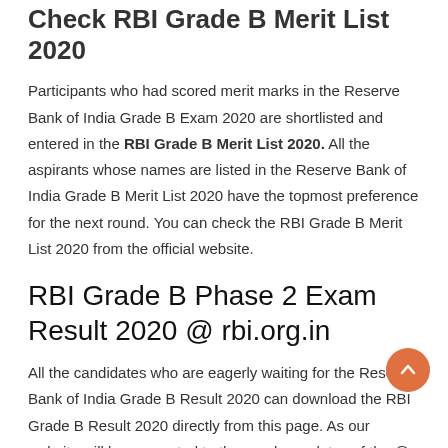Check RBI Grade B Merit List 2020
Participants who had scored merit marks in the Reserve Bank of India Grade B Exam 2020 are shortlisted and entered in the RBI Grade B Merit List 2020. All the aspirants whose names are listed in the Reserve Bank of India Grade B Merit List 2020 have the topmost preference for the next round. You can check the RBI Grade B Merit List 2020 from the official website.
RBI Grade B Phase 2 Exam Result 2020 @ rbi.org.in
All the candidates who are eagerly waiting for the Reserve Bank of India Grade B Result 2020 can download the RBI Grade B Result 2020 directly from this page. As our website will be connected to the regular updates of the @ rbi.org.in
RBI Grade B Cut Off Marks 2020